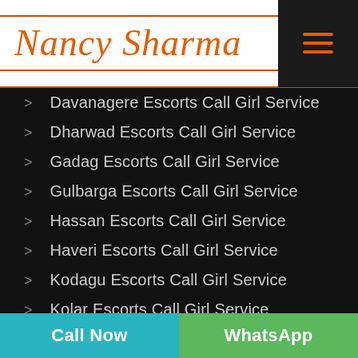[Figure (logo): Nancy Sharma logo in orange italic script font with orange horizontal lines above and below]
Davanagere Escorts Call Girl Service
Dharwad Escorts Call Girl Service
Gadag Escorts Call Girl Service
Gulbarga Escorts Call Girl Service
Hassan Escorts Call Girl Service
Haveri Escorts Call Girl Service
Kodagu Escorts Call Girl Service
Kolar Escorts Call Girl Service
Call Now   WhatsApp